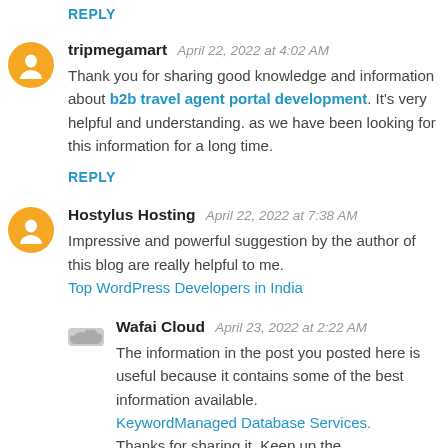REPLY
tripmegamart   April 22, 2022 at 4:02 AM
Thank you for sharing good knowledge and information about b2b travel agent portal development. It's very helpful and understanding. as we have been looking for this information for a long time.
REPLY
Hostylus Hosting   April 22, 2022 at 7:38 AM
Impressive and powerful suggestion by the author of this blog are really helpful to me. Top WordPress Developers in India
Wafai Cloud   April 23, 2022 at 2:22 AM
The information in the post you posted here is useful because it contains some of the best information available. KeywordManaged Database Services. Thanks for sharing it. Keep up the